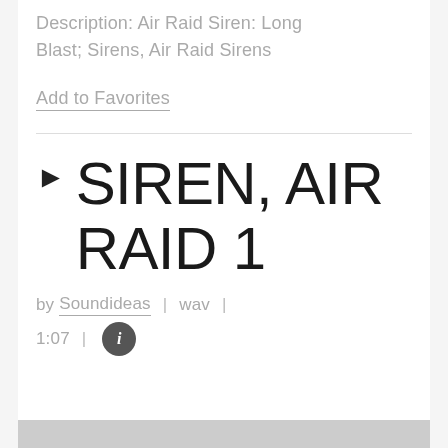Description: Air Raid Siren: Long Blast; Sirens, Air Raid Sirens
Add to Favorites
SIREN, AIR RAID 1
by Soundideas | wav | 1:07 | ℹ